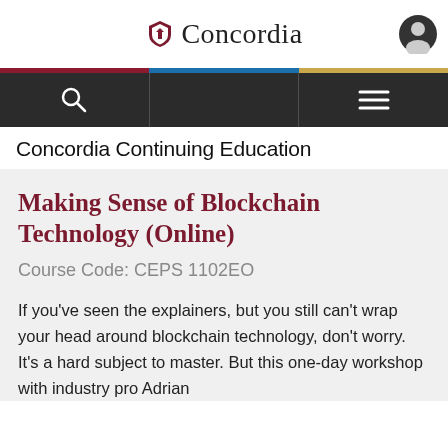Concordia
[Figure (screenshot): Concordia University navigation bar with search icon, color stripe, dark nav bar with hamburger menu, and user account icon]
Concordia Continuing Education
Making Sense of Blockchain Technology (Online)
Course Code: CEPS 1102EO
If you've seen the explainers, but you still can't wrap your head around blockchain technology, don't worry. It's a hard subject to master. But this one-day workshop with industry pro Adrian